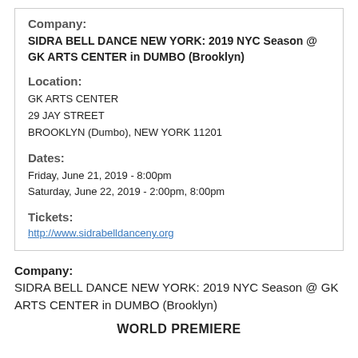Company:
SIDRA BELL DANCE NEW YORK: 2019 NYC Season @ GK ARTS CENTER in DUMBO (Brooklyn)
Location:
GK ARTS CENTER
29 JAY STREET
BROOKLYN (Dumbo), NEW YORK 11201
Dates:
Friday, June 21, 2019 - 8:00pm
Saturday, June 22, 2019 - 2:00pm, 8:00pm
Tickets:
http://www.sidrabelldanceny.org
Company:
SIDRA BELL DANCE NEW YORK: 2019 NYC Season @ GK ARTS CENTER in DUMBO (Brooklyn)
WORLD PREMIERE